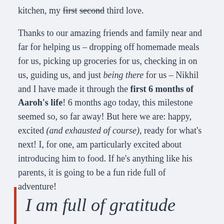kitchen, my first second third love.
Thanks to our amazing friends and family near and far for helping us – dropping off homemade meals for us, picking up groceries for us, checking in on us, guiding us, and just being there for us – Nikhil and I have made it through the first 6 months of Aaroh's life! 6 months ago today, this milestone seemed so, so far away! But here we are: happy, excited (and exhausted of course), ready for what's next! I, for one, am particularly excited about introducing him to food. If he's anything like his parents, it is going to be a fun ride full of adventure!
I am full of gratitude